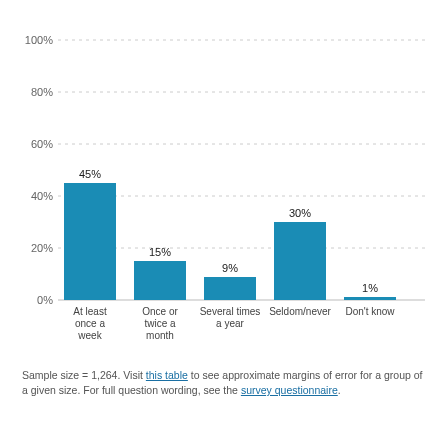[Figure (bar-chart): ]
Sample size = 1,264. Visit this table to see approximate margins of error for a group of a given size. For full question wording, see the survey questionnaire.